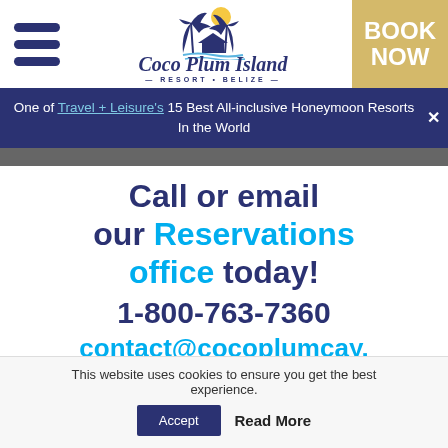[Figure (logo): Coco Plum Island Resort Belize logo with palm trees and hut icon]
BOOK NOW
One of Travel + Leisure's 15 Best All-inclusive Honeymoon Resorts In the World
Call or email our Reservations office today! 1-800-763-7360 contact@cocoplumcay.com
This website uses cookies to ensure you get the best experience. Accept Read More